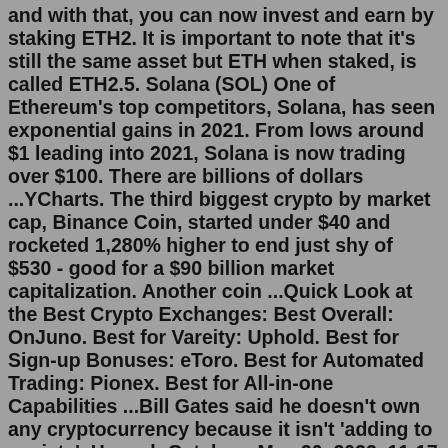and with that, you can now invest and earn by staking ETH2. It is important to note that it's still the same asset but ETH when staked, is called ETH2.5. Solana (SOL) One of Ethereum's top competitors, Solana, has seen exponential gains in 2021. From lows around $1 leading into 2021, Solana is now trading over $100. There are billions of dollars ...YCharts. The third biggest crypto by market cap, Binance Coin, started under $40 and rocketed 1,280% higher to end just shy of $530 - good for a $90 billion market capitalization. Another coin ...Quick Look at the Best Crypto Exchanges: Best Overall: OnJuno. Best for Vareity: Uphold. Best for Sign-up Bonuses: eToro. Best for Automated Trading: Pionex. Best for All-in-one Capabilities ...Bill Gates said he doesn't own any cryptocurrency because it isn't 'adding to society'. Hannah Getahun. May 20, 2022, 11:17 PM. Bill Gates. Ryan Lash / TED. Bill Gates said he doesn't invest in ...5. Monero. This is another popular ASIC-resistant cryptocurrency that values the importance of equity when it comes to crypto mining. With a